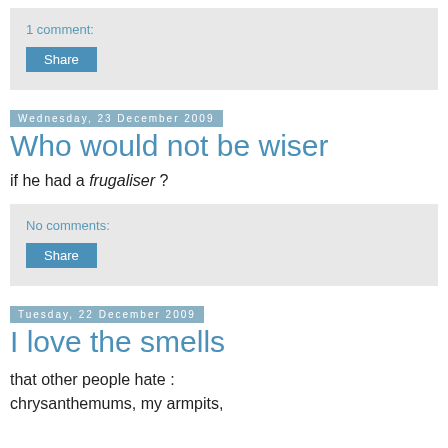1 comment:
Share
Wednesday, 23 December 2009
Who would not be wiser
if he had a frugaliser ?
No comments:
Share
Tuesday, 22 December 2009
I love the smells
that other people hate : chrysanthemums, my armpits,